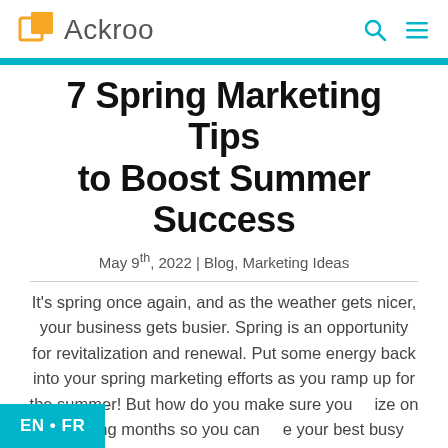Ackroo
7 Spring Marketing Tips to Boost Summer Success
May 9th, 2022 | Blog, Marketing Ideas
It’s spring once again, and as the weather gets nicer, your business gets busier. Spring is an opportunity for revitalization and renewal. Put some energy back into your spring marketing efforts as you ramp up for the summer! But how do you make sure you capitalize on the spring months so you can have your best busy season yet? [...]
EN • FR